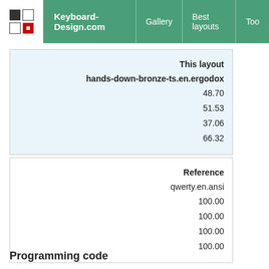Keyboard-Design.com | Gallery | Best layouts | Too
| This layout |  |
| --- | --- |
| hands-down-bronze-ts.en.ergodox |  |
|  | 48.70 |
|  | 51.53 |
|  | 37.06 |
|  | 66.32 |
| Reference |  |
| --- | --- |
| qwerty.en.ansi |  |
|  | 100.00 |
|  | 100.00 |
|  | 100.00 |
|  | 100.00 |
Programming code